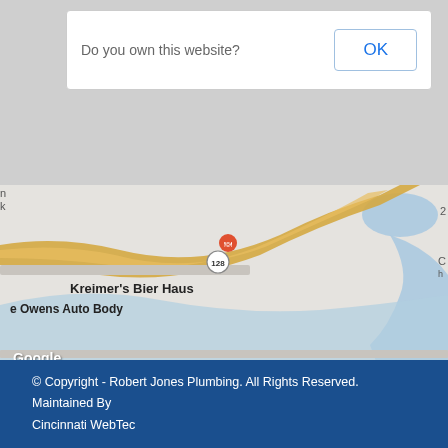[Figure (other): Dialog overlay with 'Do you own this website?' text and an OK button, shown over a partially visible webpage background]
[Figure (map): Google Maps screenshot showing a road map with Kreimer's Bier Haus, e Owens Auto Body labels, route 128, zoom controls, Google logo, and map footer with 'Keyboard shortcuts', 'Map data ©2022 Google', 'Terms of Use']
© Copyright - Robert Jones Plumbing. All Rights Reserved. Maintained By Cincinnati WebTec